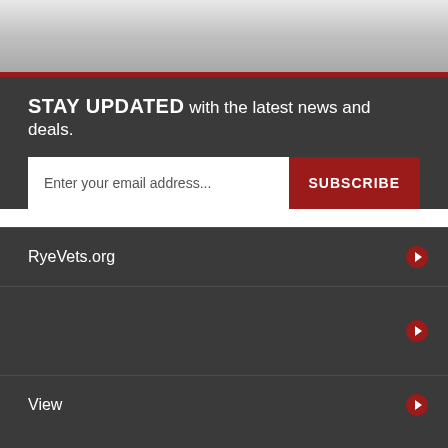[Figure (other): Silver/grey gradient header background area at the top of the page]
STAY UPDATED with the latest news and deals.
Enter your email address...
SUBSCRIBE
RyeVets.org
View
© Copyright 2022 RyeVets.org All Rights Reserved.